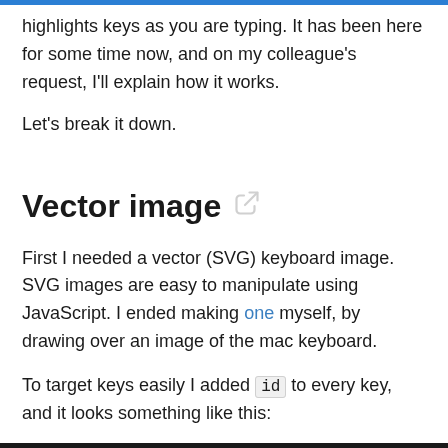highlights keys as you are typing. It has been here for some time now, and on my colleague's request, I'll explain how it works.
Let's break it down.
Vector image 🔗
First I needed a vector (SVG) keyboard image. SVG images are easy to manipulate using JavaScript. I ended making one myself, by drawing over an image of the mac keyboard.
To target keys easily I added id to every key, and it looks something like this: